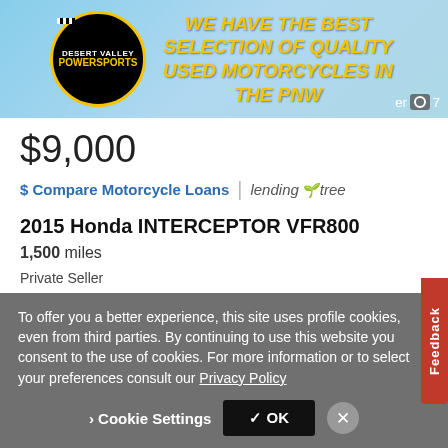[Figure (illustration): Desert Valley Powersports banner advertisement with logo and text: WE HAVE THE BEST SELECTION OF QUALITY USED MOTORCYCLES IN THE PNW]
$9,000
$ Compare Motorcycle Loans | lendingtree
2015 Honda INTERCEPTOR VFR800
1,500 miles
Private Seller
Toledo, OR - 2,386 mi. away
✉ Email
To offer you a better experience, this site uses profile cookies, even from third parties. By continuing to use this website you consent to the use of cookies. For more information or to select your preferences consult our Privacy Policy
› Cookie Settings  ✓ OK  ✕